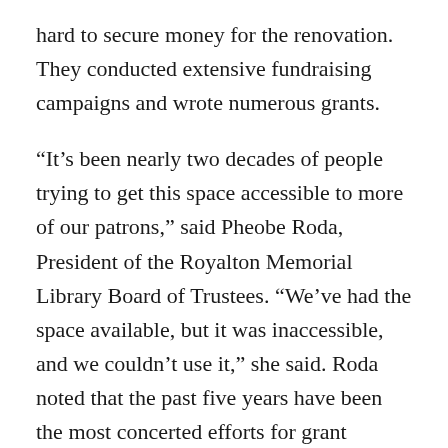hard to secure money for the renovation. They conducted extensive fundraising campaigns and wrote numerous grants.
“It’s been nearly two decades of people trying to get this space accessible to more of our patrons,” said Pheobe Roda, President of the Royalton Memorial Library Board of Trustees. “We’ve had the space available, but it was inaccessible, and we couldn’t use it,” she said. Roda noted that the past five years have been the most concerted efforts for grant writing and fundraising.
The next major step was securing the funding the